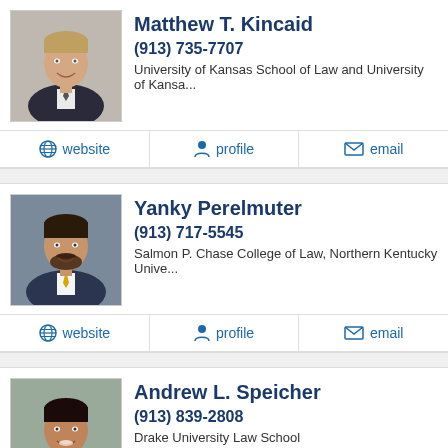[Figure (photo): Headshot of Matthew T. Kincaid, young man in suit]
Matthew T. Kincaid
(913) 735-7707
University of Kansas School of Law and University of Kansa...
website | profile | email
[Figure (photo): Headshot of Yanky Perelmuter, man with beard in suit and yellow tie]
Yanky Perelmuter
(913) 717-5545
Salmon P. Chase College of Law, Northern Kentucky Unive...
website | profile | email
[Figure (photo): Headshot of Andrew L. Speicher, man in suit smiling]
Andrew L. Speicher
(913) 839-2808
Drake University Law School
website | profile | email